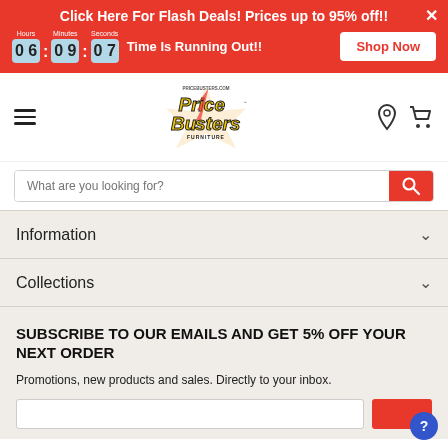Click Here For Flash Deals! Prices up to 95% off!! | Hours: 06 Minutes: 09 Seconds: 07 | Time Is Running Out!! | Shop Now
[Figure (logo): PriceBusters Furniture logo with yellow and black text and red lightning bolts]
What are you looking for?
Information
Collections
SUBSCRIBE TO OUR EMAILS AND GET 5% OFF YOUR NEXT ORDER
Promotions, new products and sales. Directly to your inbox.